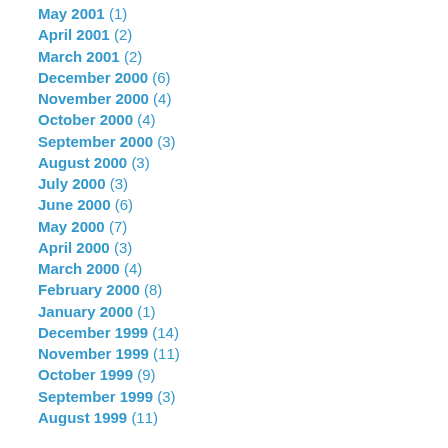May 2001 (1)
April 2001 (2)
March 2001 (2)
December 2000 (6)
November 2000 (4)
October 2000 (4)
September 2000 (3)
August 2000 (3)
July 2000 (3)
June 2000 (6)
May 2000 (7)
April 2000 (3)
March 2000 (4)
February 2000 (8)
January 2000 (1)
December 1999 (14)
November 1999 (11)
October 1999 (9)
September 1999 (3)
August 1999 (11)